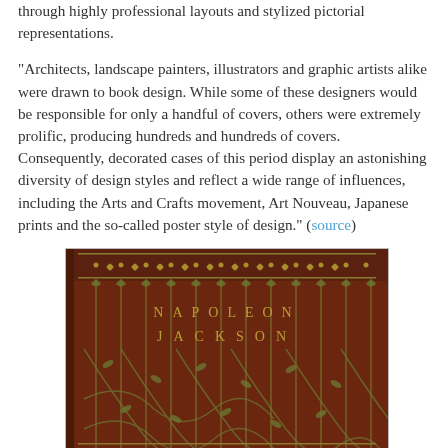through highly professional layouts and stylized pictorial representations.

"Architects, landscape painters, illustrators and graphic artists alike were drawn to book design. While some of these designers would be responsible for only a handful of covers, others were extremely prolific, producing hundreds and hundreds of covers. Consequently, decorated cases of this period display an astonishing diversity of design styles and reflect a wide range of influences, including the Arts and Crafts movement, Art Nouveau, Japanese prints and the so-called poster style of design." (source)
[Figure (photo): Photograph of an ornate book cover with dark red/maroon background featuring art nouveau style vine and leaf decorations in olive/gold color, with the text NAPOLEON JACKSON spelled out in decorative letters]